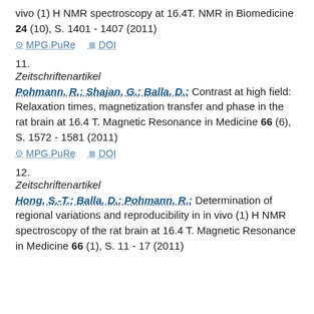vivo (1) H NMR spectroscopy at 16.4T. NMR in Biomedicine 24 (10), S. 1401 - 1407 (2011)
⊗ MPG.PuRe   ≣ DOI
11.
Zeitschriftenartikel
Pohmann, R.; Shajan, G.; Balla, D.: Contrast at high field: Relaxation times, magnetization transfer and phase in the rat brain at 16.4 T. Magnetic Resonance in Medicine 66 (6), S. 1572 - 1581 (2011)
⊗ MPG.PuRe   ≣ DOI
12.
Zeitschriftenartikel
Hong, S.-T.; Balla, D.; Pohmann, R.: Determination of regional variations and reproducibility in in vivo (1) H NMR spectroscopy of the rat brain at 16.4 T. Magnetic Resonance in Medicine 66 (1), S. 11 - 17 (2011)